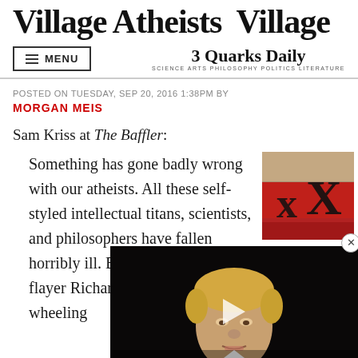Village Atheists Village
MENU
3 Quarks Daily
SCIENCE ARTS PHILOSOPHY POLITICS LITERATURE
POSTED ON TUESDAY, SEP 20, 2016 1:38PM BY
MORGAN MEIS
Sam Kriss at The Baffler:
Something has gone badly wrong with our atheists. All these self-styled intellectual titans, scientists, and philosophers have fallen horribly ill. Evolutionist faith-flayer Richard Dawkins is a wheeling
[Figure (photo): Red background image with large black X letters]
[Figure (photo): Video overlay showing a person (Trump) with dark background and play button]